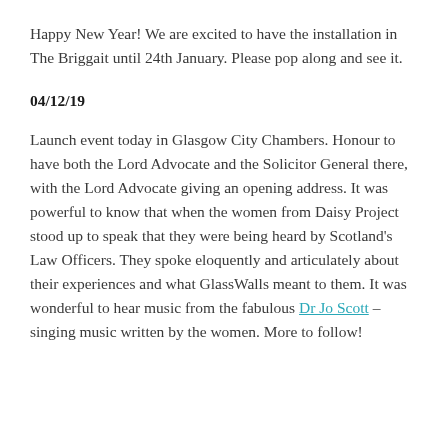Happy New Year! We are excited to have the installation in The Briggait until 24th January. Please pop along and see it.
04/12/19
Launch event today in Glasgow City Chambers. Honour to have both the Lord Advocate and the Solicitor General there, with the Lord Advocate giving an opening address. It was powerful to know that when the women from Daisy Project stood up to speak that they were being heard by Scotland's Law Officers. They spoke eloquently and articulately about their experiences and what GlassWalls meant to them. It was wonderful to hear music from the fabulous Dr Jo Scott – singing music written by the women. More to follow!